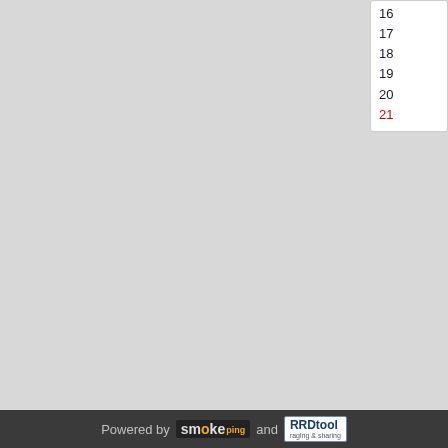16
17
18
19
20
21
3
4
5
6
7
8
9
10
11
12
13
144
15
16
17
18
19
Powered by smoke ping and RRDtool